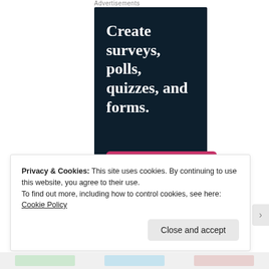Advertisements
[Figure (illustration): Advertisement banner with dark navy background showing text 'Create surveys, polls, quizzes, and forms.' with a pink 'Start now' button]
Privacy & Cookies: This site uses cookies. By continuing to use this website, you agree to their use.
To find out more, including how to control cookies, see here: Cookie Policy
Close and accept